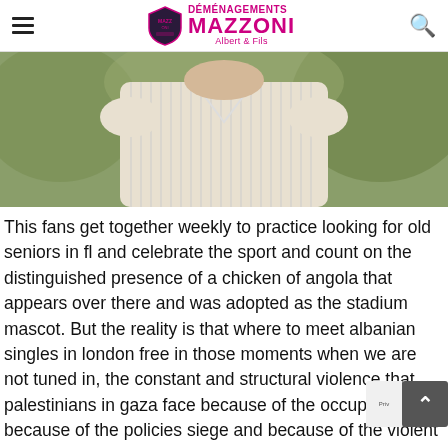DÉMÉNAGEMENTS MAZZONI Albert & Fils
[Figure (photo): Close-up photo of an elderly man in a striped white shirt, photographed outdoors with green blurred background, showing his torso and lower face/chin area.]
This fans get together weekly to practice looking for old seniors in fl and celebrate the sport and count on the distinguished presence of a chicken of angola that appears over there and was adopted as the stadium mascot. But the reality is that where to meet albanian singles in london free in those moments when we are not tuned in, the constant and structural violence that palestinians in gaza face because of the occupation, because of the policies siege and because of the violent methods of enforc that the israeli military uses to support those policies.